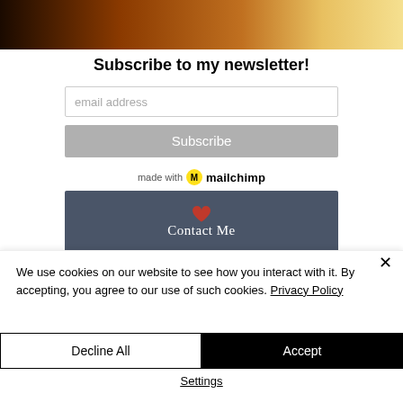[Figure (photo): Hero image at top of page, showing a warm orange/yellow gradient background]
Subscribe to my newsletter!
email address
Subscribe
made with mailchimp
[Figure (infographic): Blue-grey Contact Me banner with red heart icon and white 'Contact Me' text]
We use cookies on our website to see how you interact with it. By accepting, you agree to our use of such cookies. Privacy Policy
Decline All
Accept
Settings